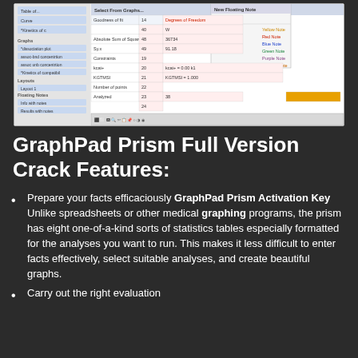[Figure (screenshot): Screenshot of GraphPad Prism software interface showing a spreadsheet/results table with rows of statistical data, menu options including Yellow Note, Red Note, Blue Note, Green Note, Purple Note, Orange Note, and various statistical parameters like Degrees of Freedom, Absolute Sum of Squares, Sy.x, Constraints, and Number of points. A file tree panel is visible on the left side.]
GraphPad Prism Full Version Crack Features:
Prepare your facts efficaciously GraphPad Prism Activation Key Unlike spreadsheets or other medical graphing programs, the prism has eight one-of-a-kind sorts of statistics tables especially formatted for the analyses you want to run. This makes it less difficult to enter facts effectively, select suitable analyses, and create beautiful graphs.
Carry out the right evaluation